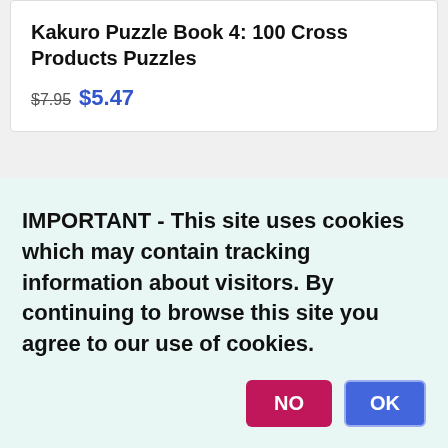Kakuro Puzzle Book 4: 100 Cross Products Puzzles
$7.95 $5.47
IMPORTANT - This site uses cookies which may contain tracking information about visitors. By continuing to browse this site you agree to our use of cookies.